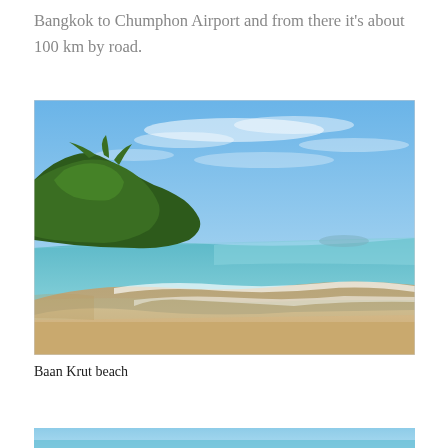Bangkok to Chumphon Airport and from there it's about 100 km by road.
[Figure (photo): Baan Krut beach scene: wide sandy beach with gentle waves, turquoise sea, blue sky with wispy clouds, and palm trees and tropical vegetation along the left shoreline.]
Baan Krut beach
[Figure (photo): Partial view of another beach photo at bottom of page, mostly sky and water visible.]